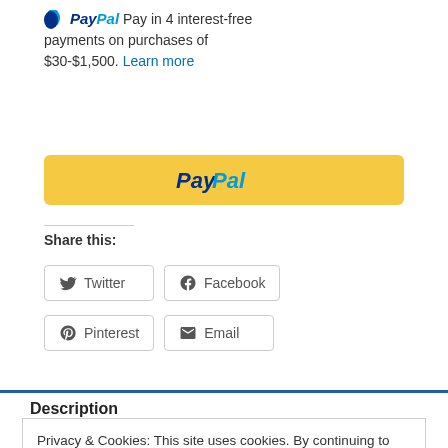PayPal Pay in 4 interest-free payments on purchases of $30-$1,500. Learn more
[Figure (other): PayPal checkout button (yellow background with PayPal logo)]
Share this:
Twitter
Facebook
Pinterest
Email
Description
Privacy & Cookies: This site uses cookies. By continuing to use this website, you agree to their use.
To find out more, including how to control cookies, see here: Cookie Policy
Close and accept
teams more than 15 years of digitizing and embroidery experience